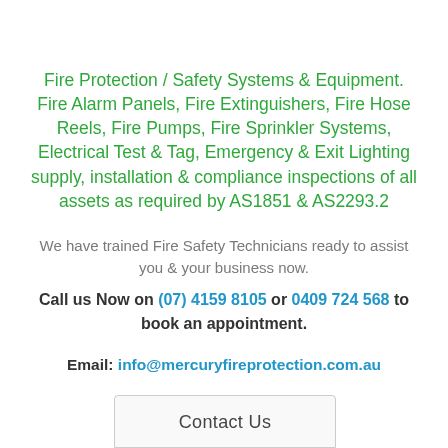Fire Protection / Safety Systems & Equipment. Fire Alarm Panels, Fire Extinguishers, Fire Hose Reels, Fire Pumps, Fire Sprinkler Systems, Electrical Test & Tag, Emergency & Exit Lighting supply, installation & compliance inspections of all assets as required by AS1851 & AS2293.2
We have trained Fire Safety Technicians ready to assist you & your business now.
Call us Now on (07) 4159 8105 or 0409 724 568 to book an appointment.
Email: info@mercuryfireprotection.com.au
Contact Us